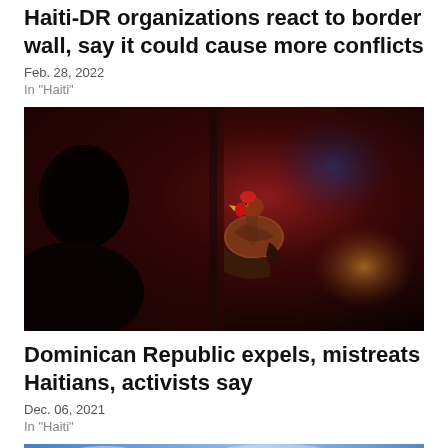Haiti-DR organizations react to border wall, say it could cause more conflicts
Feb. 28, 2022
In "Haiti"
[Figure (photo): Dark photo of a person's silhouette on the left, with a rooster/chicken being held in the center, against a dark reddish background]
Dominican Republic expels, mistreats Haitians, activists say
Dec. 06, 2021
In "Haiti"
[Figure (photo): Partial view of another photo at the bottom, showing blue sky tones]